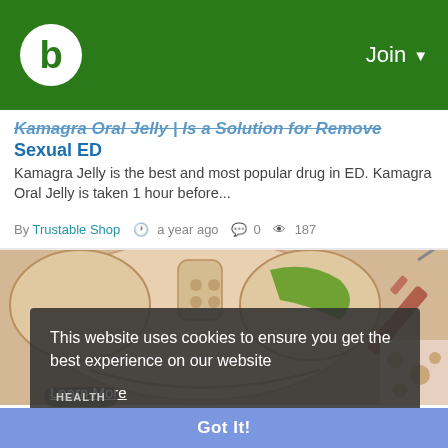b  Join
Kamagra Oral Jelly | Is a Solution for Remove Sexual ED
Kamagra Jelly is the best and most popular drug in ED. Kamagra Oral Jelly is taken 1 hour before...
By Trustable Shop  · a year ago  · 0  · 187
[Figure (illustration): Medical illustration of human pelvis and bone marrow injection, with a green highlighted area and syringe]
This website uses cookies to ensure you get the best experience on our website
Learn More
Got It!
HEALTH
Things You Need to Know About Bone Marrow